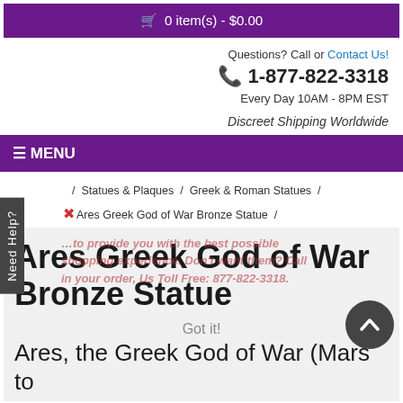🛒 0 item(s) - $0.00
Questions? Call or Contact Us!
📞 1-877-822-3318
Every Day 10AM - 8PM EST
Discreet Shipping Worldwide
☰ MENU
/ Statues & Plaques / Greek & Roman Statues / Ares Greek God of War Bronze Statue /
Ares Greek God of War Bronze Statue
Ares, the Greek God of War (Mars to